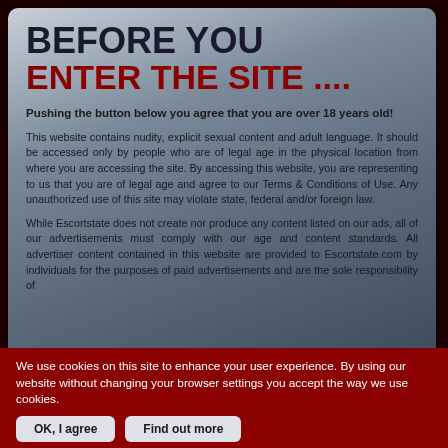BEFORE YOU ENTER THE SITE ....
Pushing the button below you agree that you are over 18 years old!
This website contains nudity, explicit sexual content and adult language. It should be accessed only by people who are of legal age in the physical location from where you are accessing the site. By accessing this website, you are representing to us that you are of legal age and agree to our Terms & Conditions of Use. Any unauthorized use of this site may violate state, federal and/or foreign law.
While Escortstate does not create nor produce any content listed on our ads, all of our advertisements must comply with our age and content standards. All advertiser content contained in this website are provided to Escortstate.com by individuals for the purposes of paid advertisements and are the sole responsibility of
We use cookies on this site to enhance your user experience. By using our website without changing your browser settings you accept the way we use cookies.
OK, I agree
Find out more